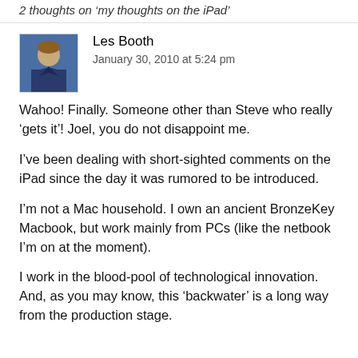2 thoughts on 'my thoughts on the iPad'
Les Booth
January 30, 2010 at 5:24 pm
Wahoo! Finally. Someone other than Steve who really ‘gets it’! Joel, you do not disappoint me.
I’ve been dealing with short-sighted comments on the iPad since the day it was rumored to be introduced.
I’m not a Mac household. I own an ancient BronzeKey Macbook, but work mainly from PCs (like the netbook I’m on at the moment).
I work in the blood-pool of technological innovation. And, as you may know, this ‘backwater’ is a long way from the production stage.